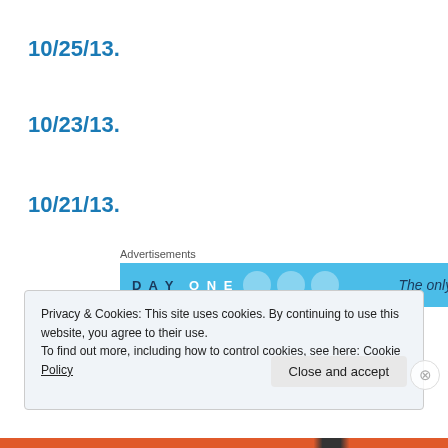10/25/13.
10/23/13.
10/21/13.
[Figure (other): Advertisement banner for Day One journaling app — light blue background with 'DAY ONE' text, app icons, and 'The only journaling' tagline]
10/18/13.
Privacy & Cookies: This site uses cookies. By continuing to use this website, you agree to their use.
To find out more, including how to control cookies, see here: Cookie Policy